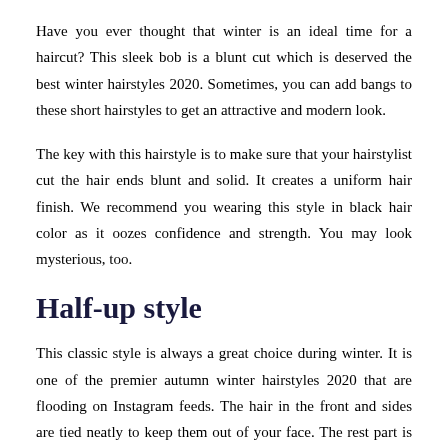Have you ever thought that winter is an ideal time for a haircut? This sleek bob is a blunt cut which is deserved the best winter hairstyles 2020. Sometimes, you can add bangs to these short hairstyles to get an attractive and modern look.
The key with this hairstyle is to make sure that your hairstylist cut the hair ends blunt and solid. It creates a uniform hair finish. We recommend you wearing this style in black hair color as it oozes confidence and strength. You may look mysterious, too.
Half-up style
This classic style is always a great choice during winter. It is one of the premier autumn winter hairstyles 2020 that are flooding on Instagram feeds. The hair in the front and sides are tied neatly to keep them out of your face. The rest part is loosed freely to keep your neck and shoulder warm on freezing days.